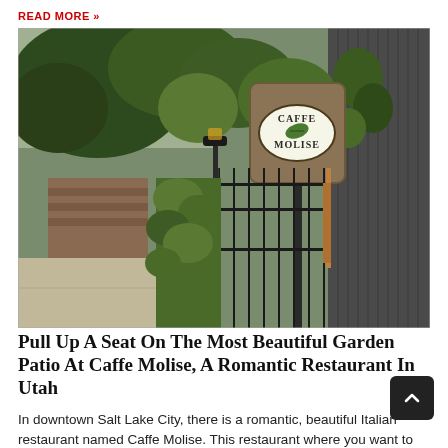READ MORE »
[Figure (photo): Exterior street view of Caffe Molise restaurant in Salt Lake City, showing a wooden sign with the restaurant name, lush green trees, iron fence, and brick building facade.]
Pull Up A Seat On The Most Beautiful Garden Patio At Caffe Molise, A Romantic Restaurant In Utah
In downtown Salt Lake City, there is a romantic, beautiful Italian restaurant named Caffe Molise. This restaurant where you want to go in Utah when you are looking for an